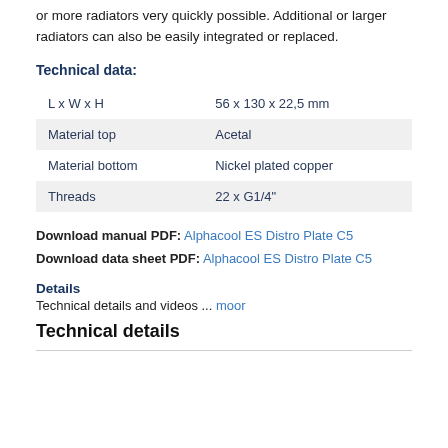or more radiators very quickly possible. Additional or larger radiators can also be easily integrated or replaced.
Technical data:
| L x W x H | 56 x 130 x 22,5 mm |
| Material top | Acetal |
| Material bottom | Nickel plated copper |
| Threads | 22 x G1/4" |
Download manual PDF: Alphacool ES Distro Plate C5
Download data sheet PDF: Alphacool ES Distro Plate C5
Details
Technical details and videos ... moor
Technical details